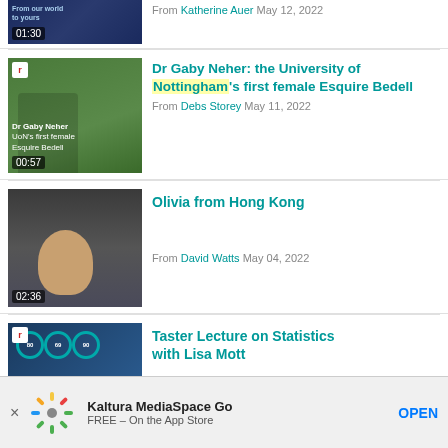[Figure (screenshot): Video thumbnail for first item (partial, top cropped) showing duration 01:30]
From Katherine Auer May 12, 2022
[Figure (screenshot): Video thumbnail for Dr Gaby Neher with text overlay 'Dr Gaby Neher / UoN's first female / Esquire Bedell', duration 00:57]
Dr Gaby Neher: the University of Nottingham's first female Esquire Bedell
From Debs Storey May 11, 2022
[Figure (screenshot): Video thumbnail for Olivia from Hong Kong showing a woman, duration 02:36]
Olivia from Hong Kong
From David Watts May 04, 2022
[Figure (screenshot): Video thumbnail for Taster Lecture on Statistics with Lisa Mott showing circular gauge graphics]
Taster Lecture on Statistics with Lisa Mott
Kaltura MediaSpace Go
FREE - On the App Store